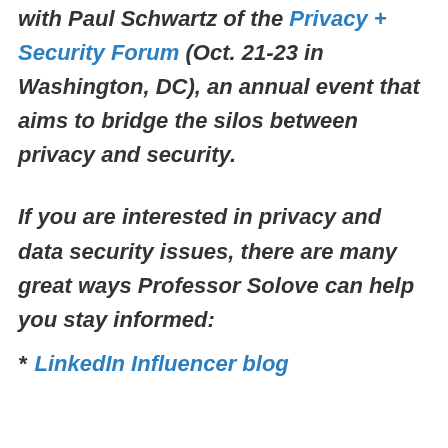with Paul Schwartz of the Privacy + Security Forum (Oct. 21-23 in Washington, DC), an annual event that aims to bridge the silos between privacy and security.
If you are interested in privacy and data security issues, there are many great ways Professor Solove can help you stay informed:
* LinkedIn Influencer blog